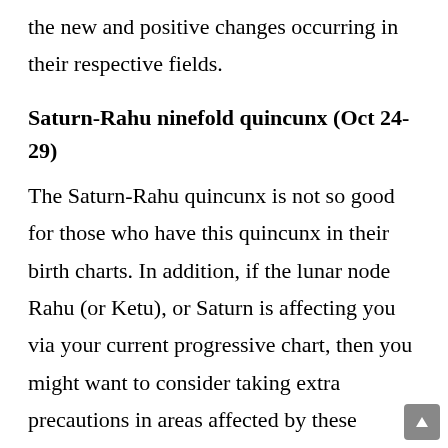the new and positive changes occurring in their respective fields.
Saturn-Rahu ninefold quincunx (Oct 24-29)
The Saturn-Rahu quincunx is not so good for those who have this quincunx in their birth charts. In addition, if the lunar node Rahu (or Ketu), or Saturn is affecting you via your current progressive chart, then you might want to consider taking extra precautions in areas affected by these planets as indicated by your natal chart.  The affected people should avoid